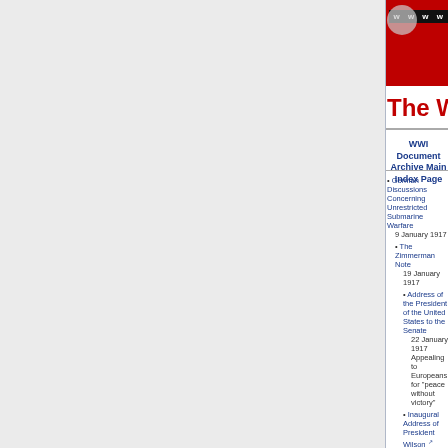[Figure (illustration): WWI Document Archive website banner with red background and globe graphic, showing 'www' text on dark bar]
The World War I Do
WWI Document Archive Main Index Page
German Discussions Concerning Unrestricted Submarine Warfare
9 January 1917
The Zimmerman Note
19 January 1917
Address of the President of the United States to the Senate
22 January 1917
Appealing to Europeans for "peace without victory"
Inaugural Address of President Wilson